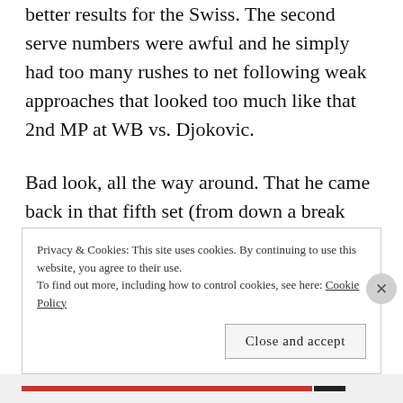better results for the Swiss. The second serve numbers were awful and he simply had too many rushes to net following weak approaches that looked too much like that 2nd MP at WB vs. Djokovic.
Bad look, all the way around. That he came back in that fifth set (from down a break and down 4-8 in the breaker) is off-set by all of those other things.
Privacy & Cookies: This site uses cookies. By continuing to use this website, you agree to their use.
To find out more, including how to control cookies, see here: Cookie Policy